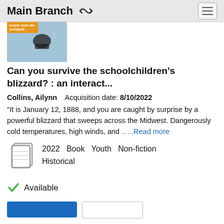Main Branch
[Figure (photo): Partial book cover thumbnail showing blizzard scene with dark figure and orange text banner]
Can you survive the schoolchildren's blizzard? : an interact...
Collins, Ailynn   Acquisition date: 8/10/2022
"It is January 12, 1888, and you are caught by surprise by a powerful blizzard that sweeps across the Midwest. Dangerously cold temperatures, high winds, and ......Read more
2022   Book   Youth   Non-fiction
Historical
Available